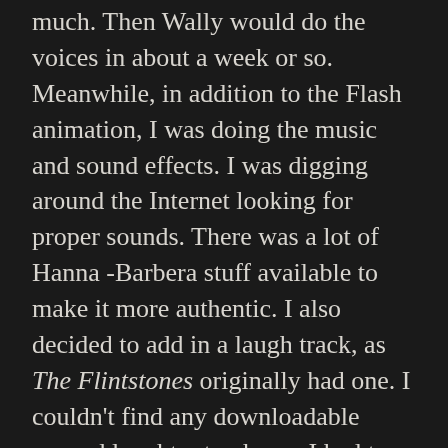much.  Then Wally would do the voices in about a week or so.  Meanwhile, in addition to the Flash animation, I was doing the music and sound effects.  I was digging around the Internet looking for proper sounds.  There was a lot of Hanna -Barbera stuff available to make it more authentic.  I also decided to add in a laugh track, as The Flintstones originally had one.  I couldn't find any downloadable canned laughter tracks, so I had to record bits of the audience reactions from comedian videos.  And of course, I had to compose all the original music.
JONATHAN: There's so much that is just so wonderfully inspired in Stone Trek.  For example, instead of beaming down, your crew